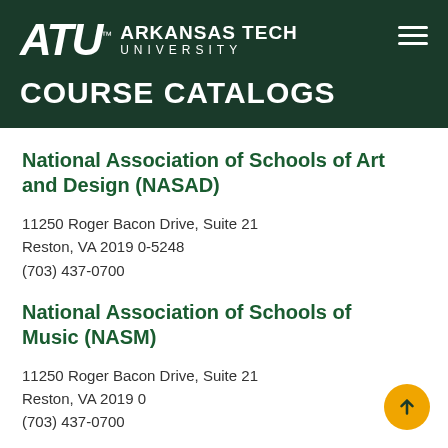ATU™ ARKANSAS TECH UNIVERSITY — COURSE CATALOGS
National Association of Schools of Art and Design (NASAD)
11250 Roger Bacon Drive, Suite 21
Reston, VA 2019 0-5248
(703) 437-0700
National Association of Schools of Music (NASM)
11250 Roger Bacon Drive, Suite 21
Reston, VA 2019 0
(703) 437-0700